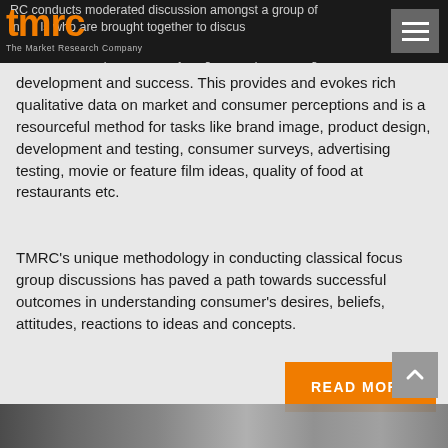[Figure (logo): TMRC - The Market Research Company logo in orange on dark background with hamburger menu icon]
TMRC conducts moderated discussion amongst a group of individuals who are brought together to discuss and share their opinions on anything that requires design, development and success. This provides and evokes rich qualitative data on market and consumer perceptions and is a resourceful method for tasks like brand image, product design, development and testing, consumer surveys, advertising testing, movie or feature film ideas, quality of food at restaurants etc.
TMRC's unique methodology in conducting classical focus group discussions has paved a path towards successful outcomes in understanding consumer's desires, beliefs, attitudes, reactions to ideas and concepts.
[Figure (screenshot): READ MORE button in orange]
[Figure (photo): Bottom image strip showing partial photo content]